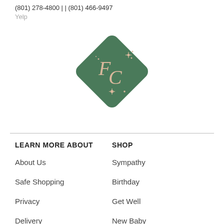(801) 278-4800 | | (801) 466-9497
Yelp
[Figure (logo): Diamond-shaped dark green logo with letters F and C and sparkle/star decorations in a pinkish-beige color]
LEARN MORE ABOUT
SHOP
About Us
Sympathy
Safe Shopping
Birthday
Privacy
Get Well
Delivery
New Baby